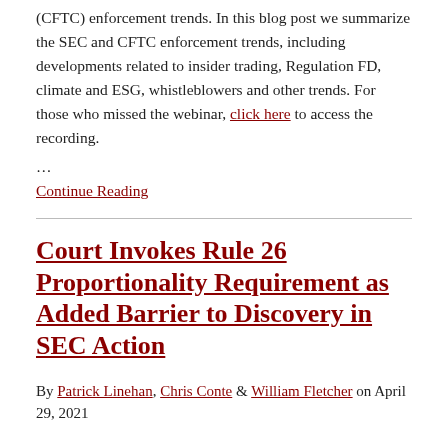(CFTC) enforcement trends. In this blog post we summarize the SEC and CFTC enforcement trends, including developments related to insider trading, Regulation FD, climate and ESG, whistleblowers and other trends. For those who missed the webinar, click here to access the recording.
...
Continue Reading
Court Invokes Rule 26 Proportionality Requirement as Added Barrier to Discovery in SEC Action
By Patrick Linehan, Chris Conte & William Fletcher on April 29, 2021